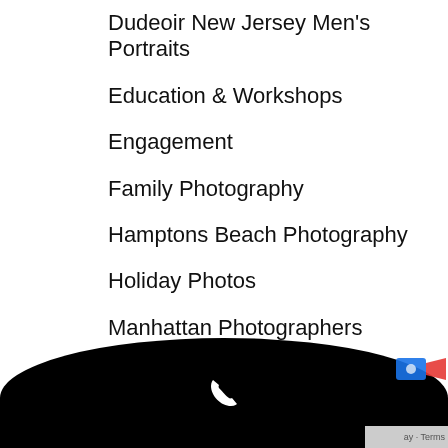Dudeoir New Jersey Men's Portraits
Education & Workshops
Engagement
Family Photography
Hamptons Beach Photography
Holiday Photos
Manhattan Photographers
Maternity Portraits
Natalie Licini in the Press
New Jersey Boudoir Photographer
New Jersey Photographers
New...